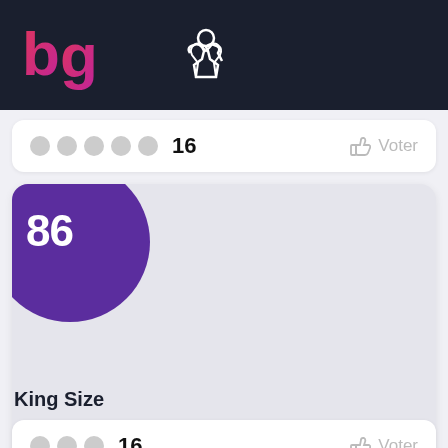bg (logo) with meeple icon
16  Voter
[Figure (screenshot): Game card with purple score badge showing 86, light grey card background]
King Size
16  Voter